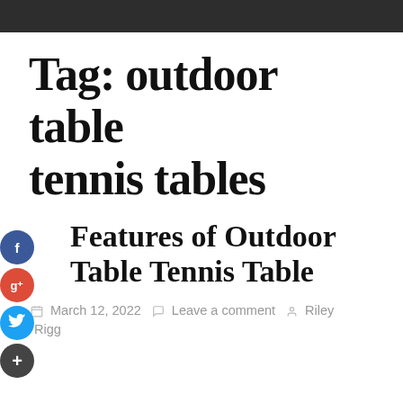Tag: outdoor table tennis tables
Features of Outdoor Table Tennis Table
March 12, 2022   Leave a comment   Riley Rigg